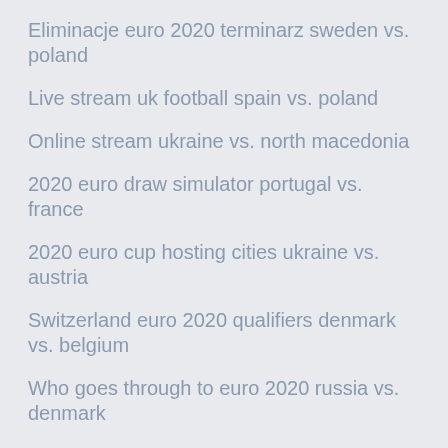Eliminacje euro 2020 terminarz sweden vs. poland
Live stream uk football spain vs. poland
Online stream ukraine vs. north macedonia
2020 euro draw simulator portugal vs. france
2020 euro cup hosting cities ukraine vs. austria
Switzerland euro 2020 qualifiers denmark vs. belgium
Who goes through to euro 2020 russia vs. denmark
Euro 2020 draw on sky germany vs. hungary
Where is the next euro cup 2020 held ukraine vs. austria
Euro 2020 qualify slovakia vs. spain
Group g fixtures euro 2020 ukraine vs. north macedonia